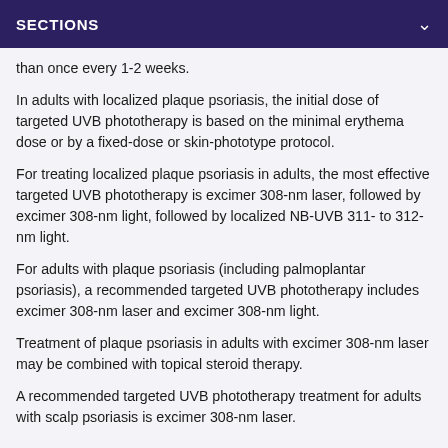SECTIONS
than once every 1-2 weeks.
In adults with localized plaque psoriasis, the initial dose of targeted UVB phototherapy is based on the minimal erythema dose or by a fixed-dose or skin-phototype protocol.
For treating localized plaque psoriasis in adults, the most effective targeted UVB phototherapy is excimer 308-nm laser, followed by excimer 308-nm light, followed by localized NB-UVB 311- to 312-nm light.
For adults with plaque psoriasis (including palmoplantar psoriasis), a recommended targeted UVB phototherapy includes excimer 308-nm laser and excimer 308-nm light.
Treatment of plaque psoriasis in adults with excimer 308-nm laser may be combined with topical steroid therapy.
A recommended targeted UVB phototherapy treatment for adults with scalp psoriasis is excimer 308-nm laser.